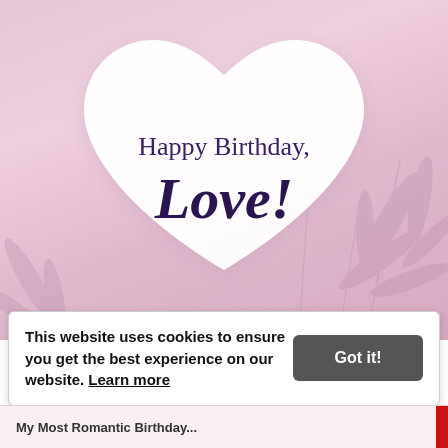[Figure (illustration): Pink/mauve gradient background with subtle botanical leaf patterns. A large white heart shape in the center contains the text 'Happy Birthday, Love!' in purple serif and italic script fonts.]
This website uses cookies to ensure you get the best experience on our website. Learn more
My Most Romantic Birthday...